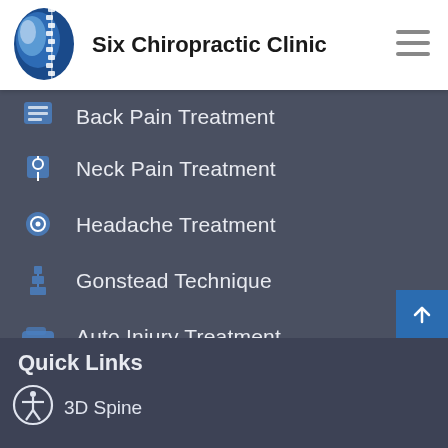[Figure (logo): Six Chiropractic Clinic logo with spine graphic and blue globe]
Six Chiropractic Clinic
Back Pain Treatment
Neck Pain Treatment
Headache Treatment
Gonstead Technique
Auto Injury Treatment
Massage Therapy
Quick Links
3D Spine